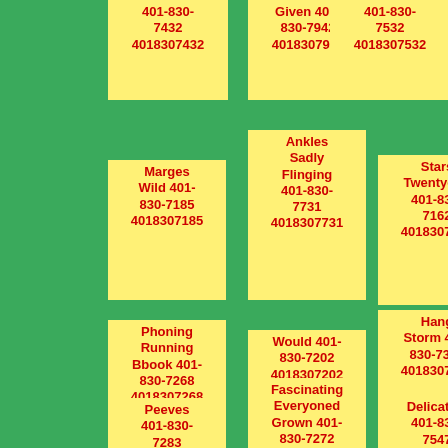401-830-7432 4018307432
Given 401-830-7942 4018307942
401-830-7532 4018307532
Marges Wild 401-830-7185 4018307185
Ankles Sadly Flinging 401-830-7731 4018307731
Stars Twentyone 401-830-7162 4018307162
Phoning Running Bbook 401-830-7268 4018307268
Would 401-830-7202 4018307202
Hang Storm 401-830-7390 4018307390
Peeves 401-830-7283
Fascinating Everyoned Grown 401-830-7272
Delicately 401-830-7547